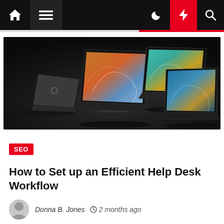Navigation bar with home, menu, dark mode, lightning/news, and search icons
[Figure (photo): Three Dell laptops with colorful wallpapers (teal and blue abstract art) displayed open, and one laptop closed showing the Dell logo, all on a dark surface.]
SEO
How to Set up an Efficient Help Desk Workflow
Donna B. Jones  2 months ago